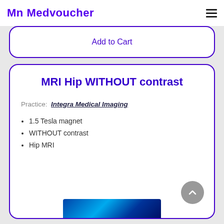Medvoucher
Add to Cart
MRI Hip WITHOUT contrast
Practice: Integra Medical Imaging
1.5 Tesla magnet
WITHOUT contrast
Hip MRI
[Figure (photo): Blue-toned MRI machine interior image at bottom of card]